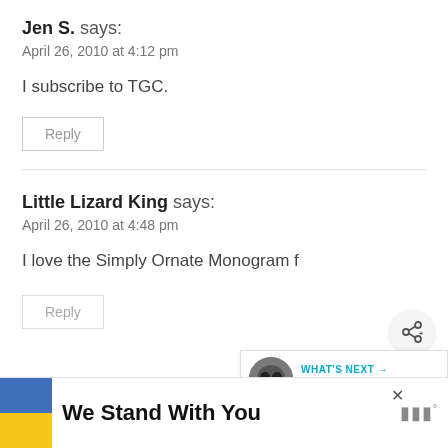Jen S. says:
April 26, 2010 at 4:12 pm
I subscribe to TGC.
Reply
Little Lizard King says:
April 26, 2010 at 4:48 pm
I love the Simply Ornate Monogram f
Reply
WHAT'S NEXT → Rustic Wood Slice...
We Stand With You